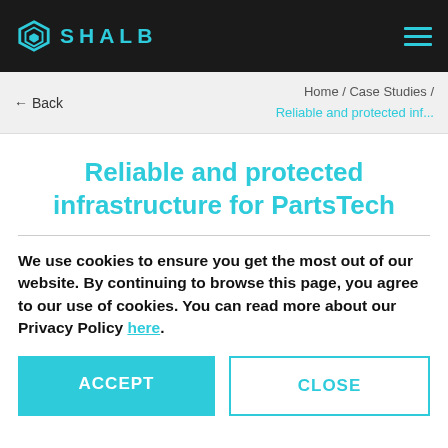SHALB
Home / Case Studies / Reliable and protected inf...
← Back
Reliable and protected infrastructure for PartsTech
We use cookies to ensure you get the most out of our website. By continuing to browse this page, you agree to our use of cookies. You can read more about our Privacy Policy here.
ACCEPT
CLOSE